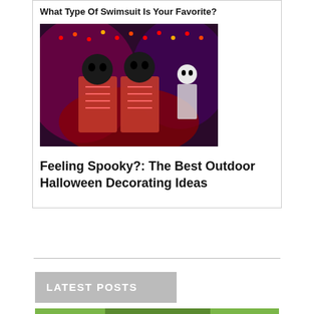What Type Of Swimsuit Is Your Favorite?
[Figure (photo): Halloween skeleton decorations lit up in red and purple lights outdoors]
Feeling Spooky?: The Best Outdoor Halloween Decorating Ideas
LATEST POSTS
[Figure (photo): Partial view of people outdoors in a green setting]